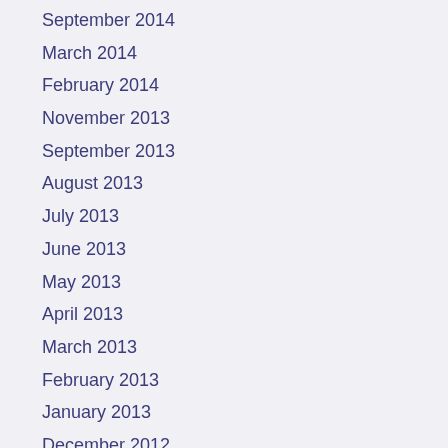September 2014
March 2014
February 2014
November 2013
September 2013
August 2013
July 2013
June 2013
May 2013
April 2013
March 2013
February 2013
January 2013
December 2012
November 2012
October 2012